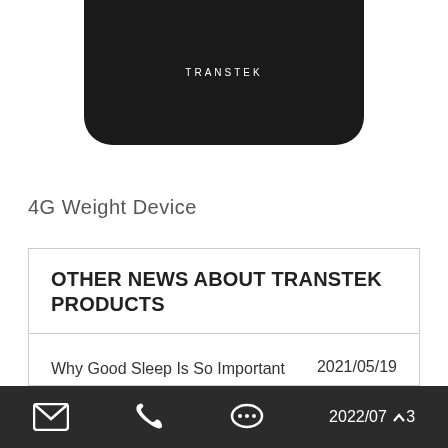[Figure (photo): TRANSTEK 4G Weight Device product photo — a black scale with rounded bottom corners and TRANSTEK label in white text, shown cropped from top]
4G Weight Device
OTHER NEWS ABOUT TRANSTEK PRODUCTS
Why Good Sleep Is So Important    2021/05/19
What Is Remote Patient Monitoring?    2021/01/30
W... is the Blood Pressure    2022/07/03
Footer navigation bar with email, phone, and chat icons plus 2022/07/03 date